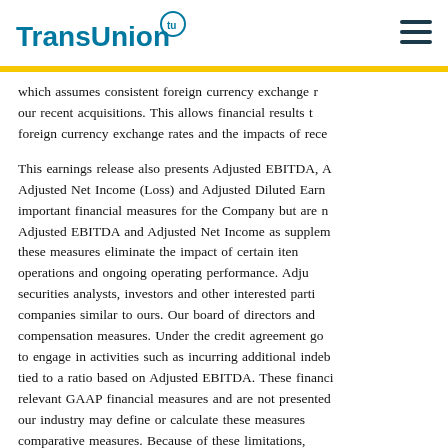TransUnion
which assumes consistent foreign currency exchange rates as our recent acquisitions. This allows financial results to foreign currency exchange rates and the impacts of rece
This earnings release also presents Adjusted EBITDA, Adjusted Net Income (Loss) and Adjusted Diluted Earnings important financial measures for the Company but are not Adjusted EBITDA and Adjusted Net Income as supplemental these measures eliminate the impact of certain items operations and ongoing operating performance. Adjusted securities analysts, investors and other interested parties companies similar to ours. Our board of directors and compensation measures. Under the credit agreement to engage in activities such as incurring additional indebtedness tied to a ratio based on Adjusted EBITDA. These financial relevant GAAP financial measures and are not presented our industry may define or calculate these measures comparative measures. Because of these limitations, considered in isolation or as substitutes for performance including operating income, operating margin, effect